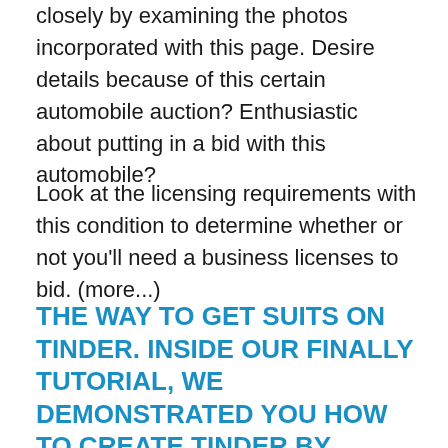closely by examining the photos incorporated with this page. Desire details because of this certain automobile auction? Enthusiastic about putting in a bid with this automobile?
Look at the licensing requirements with this condition to determine whether or not you'll need a business licenses to bid. (more...)
THE WAY TO GET SUITS ON TINDER. INSIDE OUR FINALLY TUTORIAL, WE DEMONSTRATED YOU HOW TO CREATE TINDER BY PROMOTING A MERCHANT ACCOUNT AND FILLING OUT THE